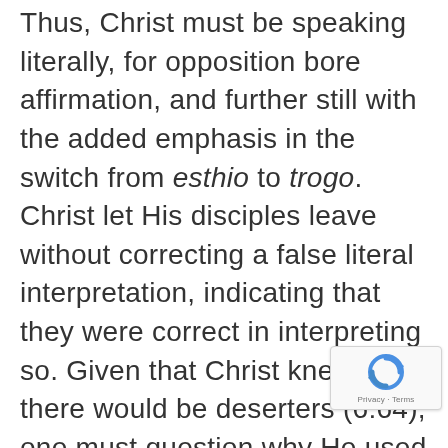Thus, Christ must be speaking literally, for opposition bore affirmation, and further still with the added emphasis in the switch from esthio to trogo. Christ let His disciples leave without correcting a false literal interpretation, indicating that they were correct in interpreting so. Given that Christ knew that there would be deserters (6:64), one must question why He used such grotesque imagery to explain Himself. There is no end to the more amenable metaphors Christ could have used had He only been speaking figuratively, and nothing but an absolute need of using such imagery—a need based to make the literal doctrine of His
[Figure (logo): reCAPTCHA badge with circular arrow icon and 'Privacy - Terms' text]